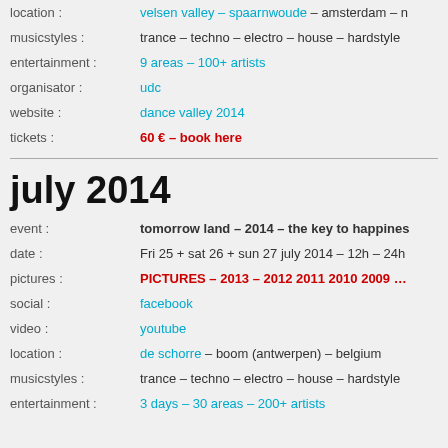location : velsen valley – spaarnwoude – amsterdam – n
musicstyles : trance – techno – electro – house – hardstyle
entertainment : 9 areas – 100+ artists
organisator : udc
website : dance valley 2014
tickets : 60 € – book here
july 2014
event : tomorrow land – 2014 – the key to happiness
date : Fri 25 + sat 26 + sun 27 july 2014 – 12h – 24h
pictures : PICTURES – 2013 – 2012 2011 2010 2009 ...
social : facebook
video : youtube
location : de schorre – boom (antwerpen) – belgium
musicstyles : trance – techno – electro – house – hardstyle
entertainment : 3 days – 30 areas – 200+ artists